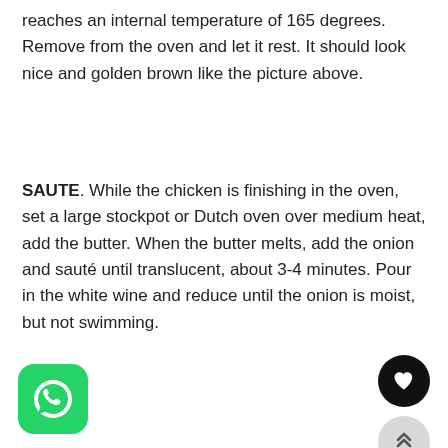reaches an internal temperature of 165 degrees. Remove from the oven and let it rest. It should look nice and golden brown like the picture above.
SAUTE. While the chicken is finishing in the oven, set a large stockpot or Dutch oven over medium heat, add the butter. When the butter melts, add the onion and sauté until translucent, about 3-4 minutes. Pour in the white wine and reduce until the onion is moist, but not swimming.
[Figure (other): Black circular button with white heart icon (favorite/like button)]
[Figure (other): Light gray circular button with double upward chevron icon (scroll to top button)]
[Figure (logo): WhatsApp app icon — green rounded square with white speech bubble phone logo]